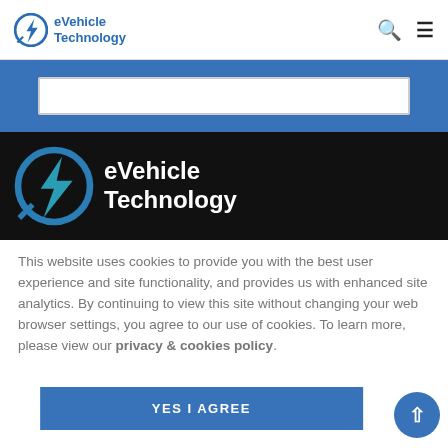eVehicle Technology
[Figure (logo): eVehicle Technology logo with circular lightning bolt icon in blue/teal, repeated in dark banner]
This website uses cookies to provide you with the best user experience and site functionality, and provides us with enhanced site analytics. By continuing to view this site without changing your web browser settings, you agree to our use of cookies. To learn more, please view our privacy & cookies policy.